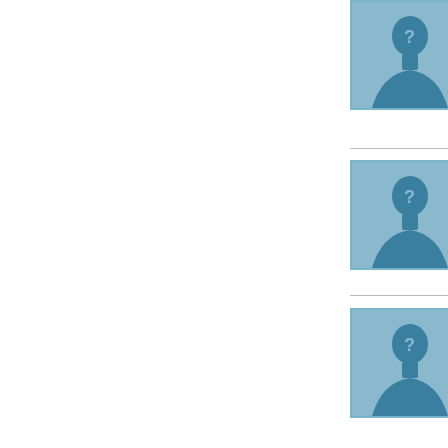[Figure (illustration): User avatar placeholder: teal silhouette of a person with question mark, in a teal-bordered box. First comment block.]
Most agencies without compr where the pers woman wants also possible t escort-escort e personal meet https://elitekar
[Figure (illustration): User avatar placeholder: teal silhouette of a person with question mark, in a teal-bordered box. Second comment block.]
The organizati guaranteed tha throughout the make the clien many of them destinations. https://eliteisla
[Figure (illustration): User avatar placeholder: teal silhouette of a person with question mark, in a teal-bordered box. Third comment block.]
I've been surfi like yours. It's made good co before. www.h